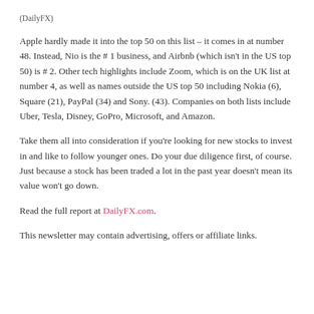(DailyFX)
Apple hardly made it into the top 50 on this list – it comes in at number 48. Instead, Nio is the # 1 business, and Airbnb (which isn't in the US top 50) is # 2. Other tech highlights include Zoom, which is on the UK list at number 4, as well as names outside the US top 50 including Nokia (6), Square (21), PayPal (34) and Sony. (43). Companies on both lists include Uber, Tesla, Disney, GoPro, Microsoft, and Amazon.
Take them all into consideration if you're looking for new stocks to invest in and like to follow younger ones. Do your due diligence first, of course. Just because a stock has been traded a lot in the past year doesn't mean its value won't go down.
Read the full report at DailyFX.com.
This newsletter may contain advertising, offers or affiliate links.